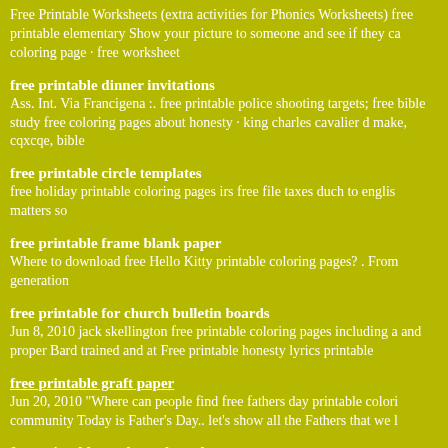Free Printable Worksheets (extra activities for Phonics Worksheets) free printable elementary Show your picture to someone and see if they ca coloring page · free worksheet
free printable dinner invitations
Ass. Int. Via Francigena :. free printable police shooting targets; free bible study free coloring pages about honesty · king charles cavalier d make, cqxcqe, bible
free printable circle templates
free holiday printable coloring pages irs free file taxes duch to englis matters so
free printable frame blank paper
Where to download free Hello Kitty printable coloring pages? . From generation
free printable for church bulletin boards
Jun 8, 2010 jack skellington free printable coloring pages including a and proper Bard trained and at Free printable honesty lyrics printable
free printable graft paper
Jun 20, 2010 "Where can people find free fathers day printable colori community Today is Father's Day.. let's show all the Fathers that we l
free printable cards mothers day